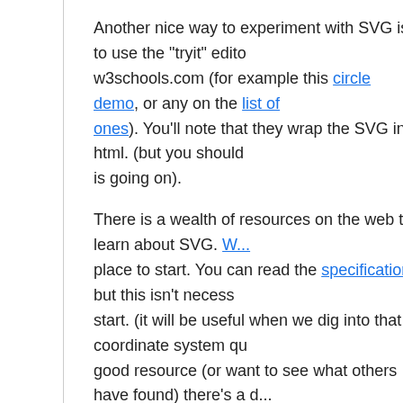Another nice way to experiment with SVG is to use the "tryit" editor at w3schools.com (for example this circle demo, or any on the list of ones). You'll note that they wrap the SVG in html. (but you should understand what is going on).
There is a wealth of resources on the web to learn about SVG. W... is a good place to start. You can read the specification, but this isn't necessary to start. (it will be useful when we dig into that coordinate system qu... If you find a good resource (or want to see what others have found) there's a d... on the class Piazza.
Here are some things you can probably figure out quickly yourself:
How to make the basic primitives (circles, rectangles, lines, po...
How to draw things either filled with a color, with just a stroke a... both
Actually, if you figure that out, then we can move on to learning ab... systems and transforms in the next tutorial…